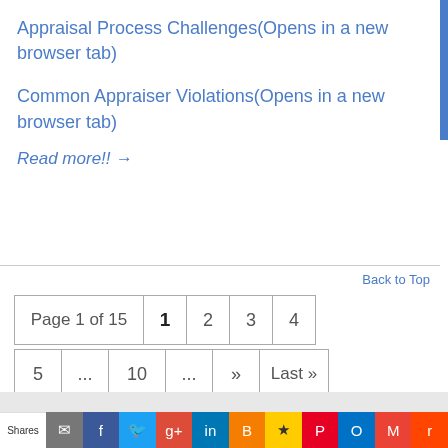Appraisal Process Challenges(Opens in a new browser tab)
Common Appraiser Violations(Opens in a new browser tab)
Read more!! →
Back to Top
Page 1 of 15  1  2  3  4  5  ...  10  ...  »  Last »
© 2023 Appraisal Today...